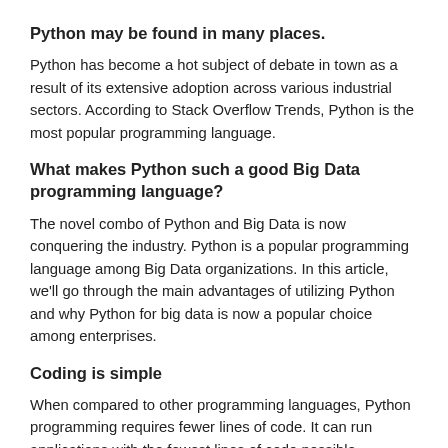Python may be found in many places.
Python has become a hot subject of debate in town as a result of its extensive adoption across various industrial sectors. According to Stack Overflow Trends, Python is the most popular programming language.
What makes Python such a good Big Data programming language?
The novel combo of Python and Big Data is now conquering the industry. Python is a popular programming language among Big Data organizations. In this article, we'll go through the main advantages of utilizing Python and why Python for big data is now a popular choice among enterprises.
Coding is simple
When compared to other programming languages, Python programming requires fewer lines of code. It can run applications with the fewest lines of code possible.